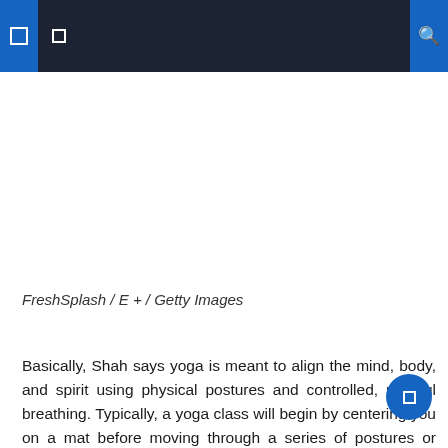Navigation bar with menu and search icons
[Figure (photo): Yoga-related image (white/blank area representing a photo placeholder)]
FreshSplash / E + / Getty Images
Basically, Shah says yoga is meant to align the mind, body, and spirit using physical postures and controlled, mindful breathing. Typically, a yoga class will begin by centering you on a mat before moving through a series of postures or asanas. The goal is to adapt your breathing to your movement. Basic poses include the downward dog pose, and